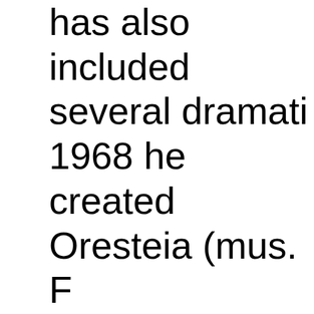has also included several dramatic works. In 1968 he created Oresteia (mus. F... Kirov followed by The Scythian Su... Prokofiev, 1969). From 1967 he also taught at the Leningrad Conservatory and f... 1980 he was artistic director and chief choreographer of the Tbilisi Opera... many works for the company inclu... Variations on a Theme by Mozart... Chopin), Classical Symphony (mu...